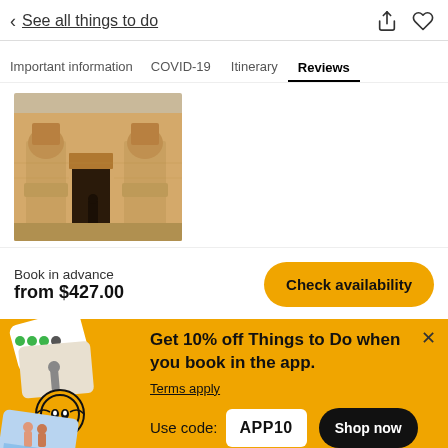< See all things to do
Important information | COVID-19 | Itinerary | Reviews
[Figure (photo): Photo of ancient Egyptian temple (Abu Simbel) with large stone statues at the entrance]
Book in advance
from $427.00
Check availability
Get 10% off Things to Do when you book in the app.
Terms apply
Use code: APP10
Shop now